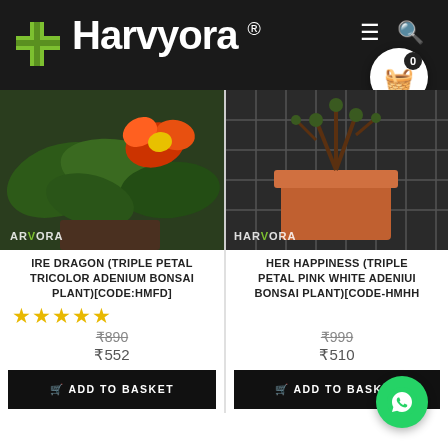Harvyora ®
[Figure (photo): Left product: flowering plant with red/yellow bloom and green leaves on dark background, ARVORA watermark]
IRE DRAGON (TRIPLE PETAL TRICOLOR ADENIUM BONSAI PLANT)[CODE:HMFD]
★★★★★
₹890 ₹552
ADD TO BASKET
[Figure (photo): Right product: terracotta pot with bonsai plant on metal grid background, HARVORA watermark]
HER HAPPINESS (TRIPLE PETAL PINK WHITE ADENIUM BONSAI PLANT)[CODE-HMHH
₹999 ₹510
ADD TO BASKET